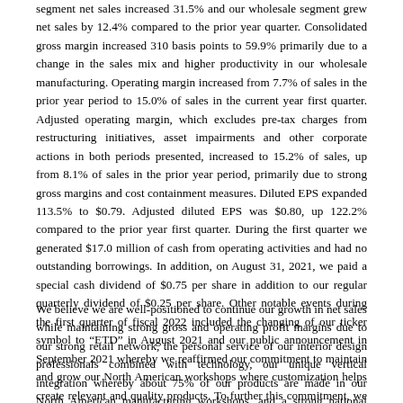segment net sales increased 31.5% and our wholesale segment grew net sales by 12.4% compared to the prior year quarter. Consolidated gross margin increased 310 basis points to 59.9% primarily due to a change in the sales mix and higher productivity in our wholesale manufacturing. Operating margin increased from 7.7% of sales in the prior year period to 15.0% of sales in the current year first quarter. Adjusted operating margin, which excludes pre-tax charges from restructuring initiatives, asset impairments and other corporate actions in both periods presented, increased to 15.2% of sales, up from 8.1% of sales in the prior year period, primarily due to strong gross margins and cost containment measures. Diluted EPS expanded 113.5% to $0.79. Adjusted diluted EPS was $0.80, up 122.2% compared to the prior year first quarter. During the first quarter we generated $17.0 million of cash from operating activities and had no outstanding borrowings. In addition, on August 31, 2021, we paid a special cash dividend of $0.75 per share in addition to our regular quarterly dividend of $0.25 per share. Other notable events during the first quarter of fiscal 2022 included the changing of our ticker symbol to “ETD” in August 2021 and our public announcement in September 2021 whereby we reaffirmed our commitment to maintain and grow our North American workshops where customization helps create relevant and quality products. To further this commitment, we are actively recruiting new employees for our manufacturing operations in both Beecher Falls and Orleans, Vermont.
We believe we are well-positioned to continue our growth in net sales while maintaining strong gross and operating profit margins due to our strong retail network, the personal service of our interior design professionals combined with technology, our unique vertical integration whereby about 75% of our products are made in our North American manufacturing workshops, and a strong national logistics with our retail home delivery centers delivering